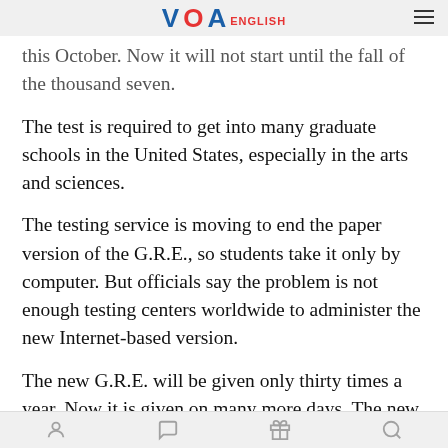VOA ENGLISH
this October. Now it will not start until the fall of the thousand seven.
The test is required to get into many graduate schools in the United States, especially in the arts and sciences.
The testing service is moving to end the paper version of the G.R.E., so students take it only by computer. But officials say the problem is not enough testing centers worldwide to administer the new Internet-based version.
The new G.R.E. will be given only thirty times a year. Now it is given on many more days. The new test will take four hours, up from three. And it will cost more. Another difference will involve the way questions are